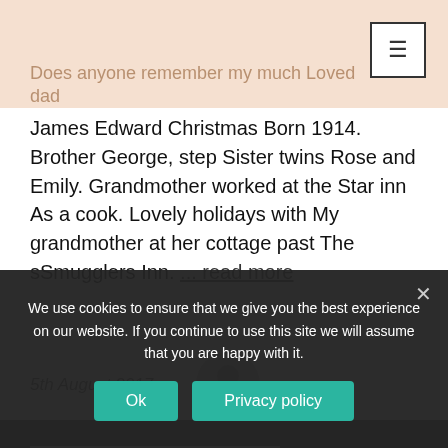Does anyone remember my much Loved dad
James Edward Christmas Born 1914. Brother George, step Sister twins Rose and Emily. Grandmother worked at the Star inn As a cook. Lovely holidays with My grandmother at her cottage past The sSmugglers Inn. ... read more
5th August 2017
[Figure (illustration): Circular grey avatar/profile icon placeholder]
Pauline Maynard Nee Christma
We use cookies to ensure that we give you the best experience on our website. If you continue to use this site we will assume that you are happy with it.
Ok
Privacy policy